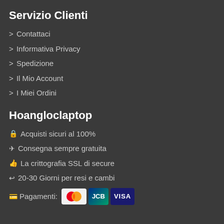Servizio Clienti
> Contattaci
> Informativa Privacy
> Spedizione
> Il Mio Account
> I Miei Ordini
Hoangloclaptop
🔒 Acquisti sicuri al 100%
✈ Consegna sempre gratuita
👍 La crittografia SSL di secure
↩ 20-30 Giorni per resi e cambi
💳 Pagamenti: MasterCard JCB VISA